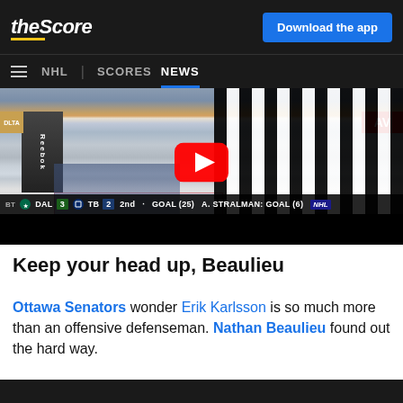theScore | Download the app | NHL | SCORES | NEWS
[Figure (screenshot): YouTube video thumbnail of an NHL hockey game showing a referee in a black and white striped jersey on the ice. Scoreboard shows DAL 3, TB 2, 2nd period, GOAL (25), A. STRALMAN: GOAL (6). A large red YouTube play button is overlaid in the center.]
Keep your head up, Beaulieu
Ottawa Senators wonder Erik Karlsson is so much more than an offensive defenseman. Nathan Beaulieu found out the hard way.